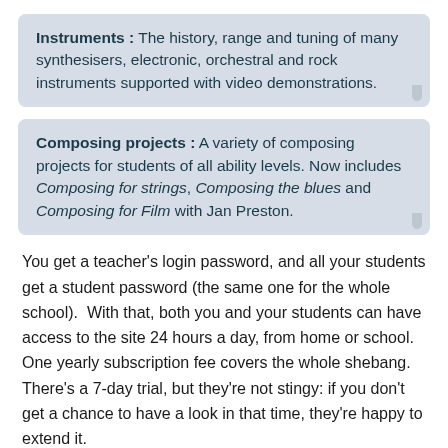Instruments : The history, range and tuning of many synthesisers, electronic, orchestral and rock instruments supported with video demonstrations.
Composing projects : A variety of composing projects for students of all ability levels. Now includes Composing for strings, Composing the blues and Composing for Film with Jan Preston.
You get a teacher's login password, and all your students get a student password (the same one for the whole school).  With that, both you and your students can have access to the site 24 hours a day, from home or school.  One yearly subscription fee covers the whole shebang.  There's a 7-day trial, but they're not stingy: if you don't get a chance to have a look in that time, they're happy to extend it.